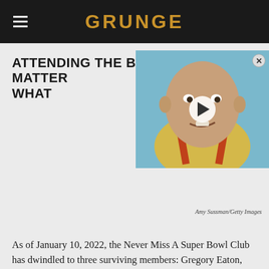GRUNGE
ATTENDING THE BIG GAME, NO MATTER WHAT
[Figure (screenshot): Video thumbnail showing a heavyset bald man with a play button overlay, partially obscuring the article headline. A close (X) button appears in the top right corner.]
Amy Sussman/Getty Images
As of January 10, 2022, the Never Miss A Super Bowl Club has dwindled to three surviving members: Gregory Eaton,